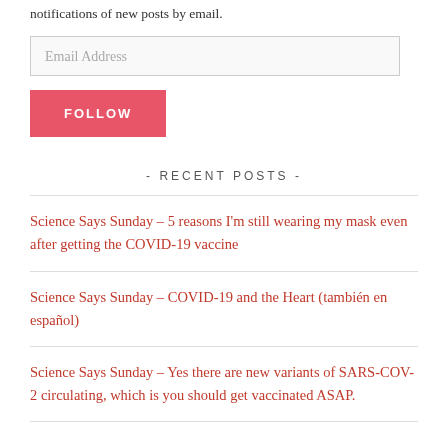notifications of new posts by email.
Email Address
FOLLOW
- RECENT POSTS -
Science Says Sunday – 5 reasons I'm still wearing my mask even after getting the COVID-19 vaccine
Science Says Sunday – COVID-19 and the Heart (también en español)
Science Says Sunday – Yes there are new variants of SARS-COV-2 circulating, which is you should get vaccinated ASAP.